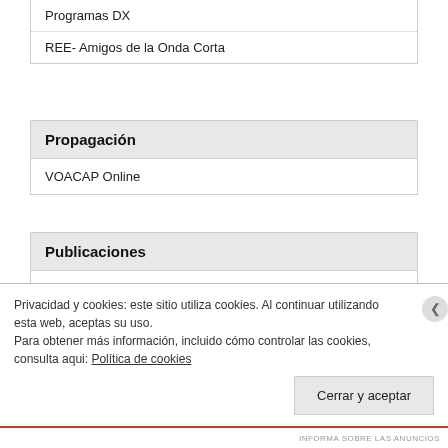Programas DX
REE- Amigos de la Onda Corta
Propagación
VOACAP Online
Publicaciones
Guia de la Radio
Privacidad y cookies: este sitio utiliza cookies. Al continuar utilizando esta web, aceptas su uso.
Para obtener más información, incluido cómo controlar las cookies, consulta aqui: Política de cookies
Cerrar y aceptar